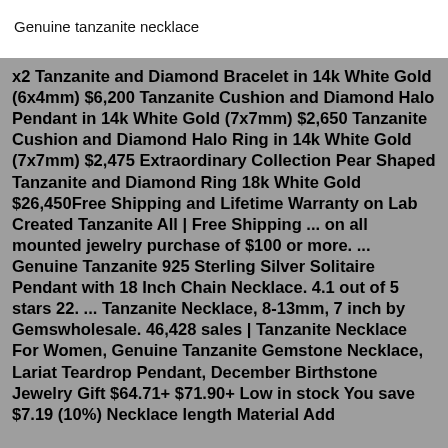Genuine tanzanite necklace
x2 Tanzanite and Diamond Bracelet in 14k White Gold (6x4mm) $6,200 Tanzanite Cushion and Diamond Halo Pendant in 14k White Gold (7x7mm) $2,650 Tanzanite Cushion and Diamond Halo Ring in 14k White Gold (7x7mm) $2,475 Extraordinary Collection Pear Shaped Tanzanite and Diamond Ring 18k White Gold $26,450Free Shipping and Lifetime Warranty on Lab Created Tanzanite All | Free Shipping ... on all mounted jewelry purchase of $100 or more. ... Genuine Tanzanite 925 Sterling Silver Solitaire Pendant with 18 Inch Chain Necklace. 4.1 out of 5 stars 22. ... Tanzanite Necklace, 8-13mm, 7 inch by Gemswholesale. 46,428 sales | Tanzanite Necklace For Women, Genuine Tanzanite Gemstone Necklace, Lariat Teardrop Pendant, December Birthstone Jewelry Gift $64.71+ $71.90+ Low in stock You save $7.19 (10%) Necklace length Material Add